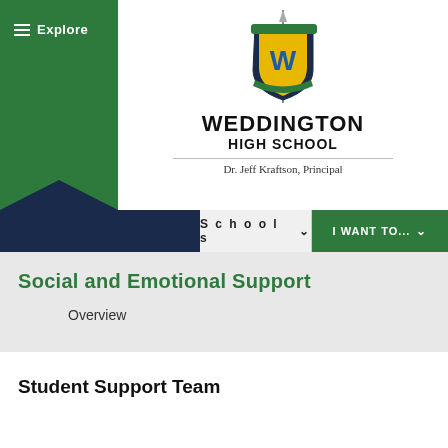[Figure (logo): Weddington High School shield logo with sword, W letter, and school crest in green, yellow and blue]
WEDDINGTON HIGH SCHOOL
Dr. Jeff Kraftson, Principal
Schools   I WANT TO...
Social and Emotional Support
Overview
Student Support Team